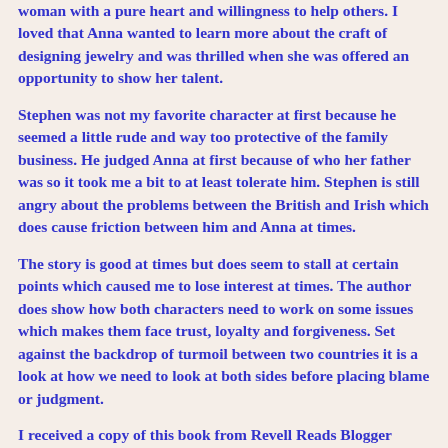woman with a pure heart and willingness to help others. I loved that Anna wanted to learn more about the craft of designing jewelry and was thrilled when she was offered an opportunity to show her talent.
Stephen was not my favorite character at first because he seemed a little rude and way too protective of the family business. He judged Anna at first because of who her father was so it took me a bit to at least tolerate him. Stephen is still angry about the problems between the British and Irish which does cause friction between him and Anna at times.
The story is good at times but does seem to stall at certain points which caused me to lose interest at times. The author does show how both characters need to work on some issues which makes them face trust, loyalty and forgiveness. Set against the backdrop of turmoil between two countries it is a look at how we need to look at both sides before placing blame or judgment.
I received a copy of this book from Revell Reads Blogger Program. The review is my own opinion.